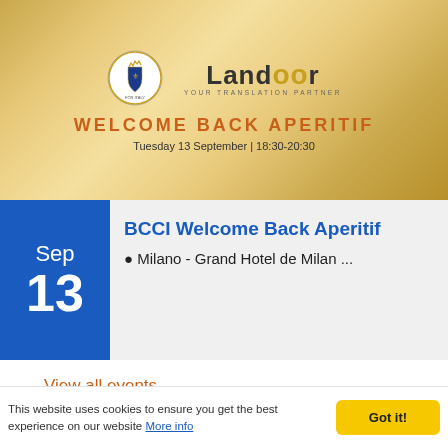[Figure (infographic): Event banner with gold/metallic background showing British Chamber of Commerce coat of arms logo and Landoor 'Your Translation Partner' logo, with 'WELCOME BACK APERITIF' in orange text and 'Tuesday 13 September | 18:30-20:30' subtitle]
Sep
13
BCCI Welcome Back Aperitif
Milano - Grand Hotel de Milan ...
View all events
Featured
[Figure (photo): Interior office or kitchen photo, partially visible, showing glass and metal surfaces]
This website uses cookies to ensure you get the best experience on our website More info